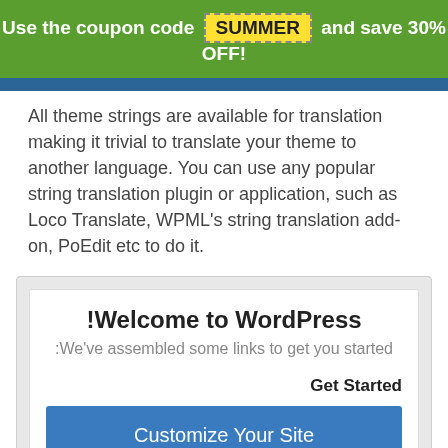Use the coupon code SUMMER and save 30% OFF!
All theme strings are available for translation making it trivial to translate your theme to another language. You can use any popular string translation plugin or application, such as Loco Translate, WPML's string translation add-on, PoEdit etc to do it.
[Figure (screenshot): WordPress welcome widget screenshot showing title '!Welcome to WordPress', subtitle ':We've assembled some links to get you started', 'Get Started' heading, and a 'Customize Your Site' button]